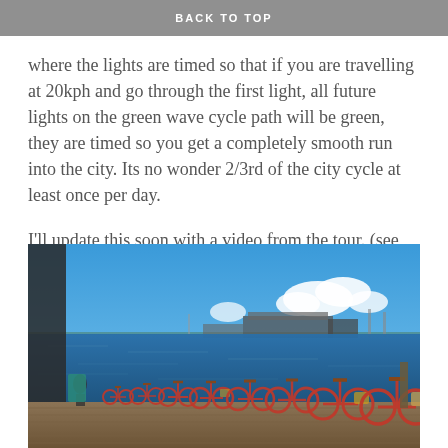BACK TO TOP
where the lights are timed so that if you are travelling at 20kph and go through the first light, all future lights on the green wave cycle path will be green, they are timed so you get a completely smooth run into the city. Its no wonder 2/3rd of the city cycle at least once per day.
I'll update this soon with a video from the tour. (see below)
[Figure (photo): Red bicycles parked on a wooden waterfront boardwalk in Copenhagen, with the Opera House visible across the water under a clear blue sky.]